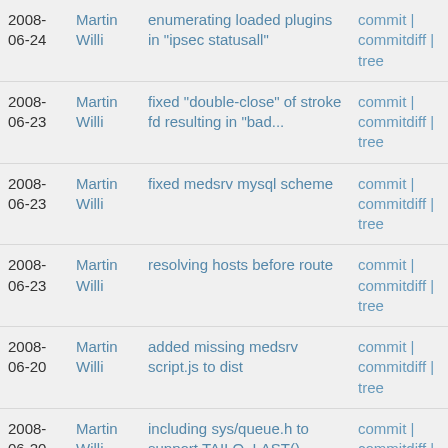| Date | Author | Description | Links |
| --- | --- | --- | --- |
| 2008-06-24 | Martin Willi | enumerating loaded plugins in "ipsec statusall" | commit | commitdiff | tree |
| 2008-06-23 | Martin Willi | fixed "double-close" of stroke fd resulting in "bad... | commit | commitdiff | tree |
| 2008-06-23 | Martin Willi | fixed medsrv mysql scheme | commit | commitdiff | tree |
| 2008-06-23 | Martin Willi | resolving hosts before route | commit | commitdiff | tree |
| 2008-06-20 | Martin Willi | added missing medsrv script.js to dist | commit | commitdiff | tree |
| 2008-06-20 | Martin Willi | including sys/queue.h to support TAILQ_LAST() macro | commit | commitdiff | tree |
| 2008-06-20 | Martin Willi | shipping own linux/types.h for introduced __be32 in... | commit | commitdiff | tree |